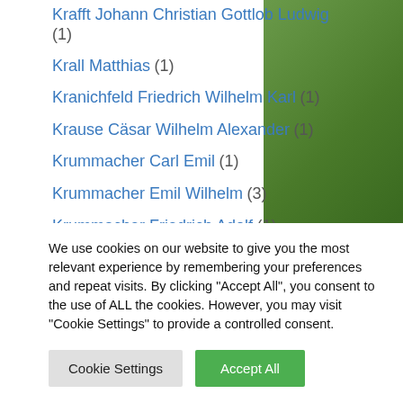Krafft Johann Christian Gottlob Ludwig (1)
Krall Matthias (1)
Kranichfeld Friedrich Wilhelm Karl (1)
Krause Cäsar Wilhelm Alexander (1)
Krummacher Carl Emil (1)
Krummacher Emil Wilhelm (3)
Krummacher Friedrich Adolf (1)
Krummacher Friedrich Wilhelm (7)
Krummacher Gottfried Daniel (13)
We use cookies on our website to give you the most relevant experience by remembering your preferences and repeat visits. By clicking "Accept All", you consent to the use of ALL the cookies. However, you may visit "Cookie Settings" to provide a controlled consent.